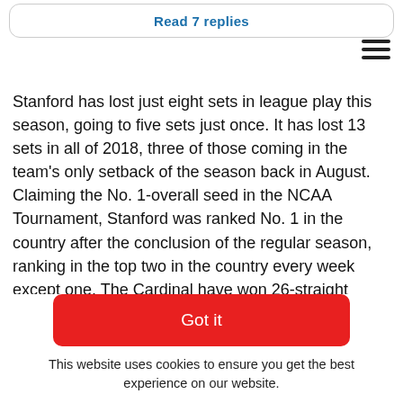Read 7 replies
Stanford has lost just eight sets in league play this season, going to five sets just once. It has lost 13 sets in all of 2018, three of those coming in the team's only setback of the season back in August. Claiming the No. 1-overall seed in the NCAA Tournament, Stanford was ranked No. 1 in the country after the conclusion of the regular season, ranking in the top two in the country every week except one. The Cardinal have won 26-straight matches and 32-straight at Maples Pavilion, the longest current home win streak in the nation.
Below is the 18-member All-Pac-12 volleyball team and seven-member Pac-12 All-Freshman team, which were also voted on by the league's 12 head coaches. Head coaches were not
Got it
This website uses cookies to ensure you get the best experience on our website.